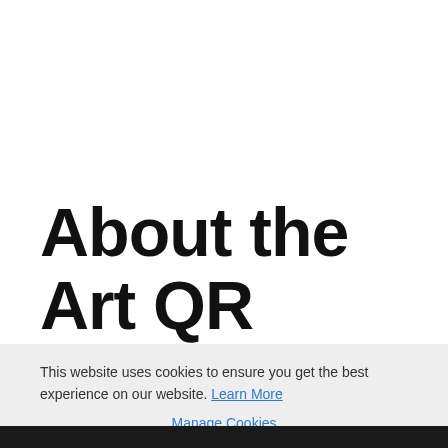About the Art QR Code
LEARN MORE ABOUT HOW THE ART QR CODE CAME TO
This website uses cookies to ensure you get the best experience on our website. Learn More
Manage Cookies